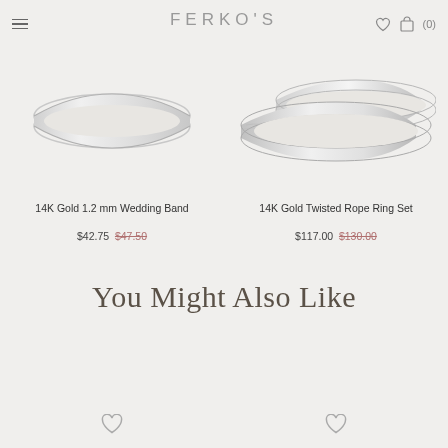FERKO'S
[Figure (photo): 14K Gold 1.2 mm Wedding Band ring product photo]
[Figure (photo): 14K Gold Twisted Rope Ring Set product photo showing two rings]
14K Gold 1.2 mm Wedding Band
$42.75  $47.50
14K Gold Twisted Rope Ring Set
$117.00  $130.00
You Might Also Like